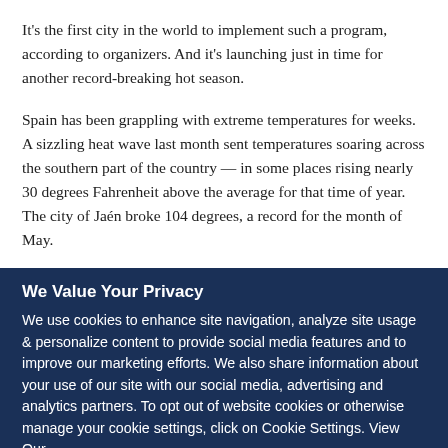It's the first city in the world to implement such a program, according to organizers. And it's launching just in time for another record-breaking hot season.
Spain has been grappling with extreme temperatures for weeks. A sizzling heat wave last month sent temperatures soaring across the southern part of the country — in some places rising nearly 30 degrees Fahrenheit above the average for that time of year. The city of Jaén broke 104 degrees, a record for the month of May.
We Value Your Privacy
We use cookies to enhance site navigation, analyze site usage & personalize content to provide social media features and to improve our marketing efforts. We also share information about your use of our site with our social media, advertising and analytics partners. To opt out of website cookies or otherwise manage your cookie settings, click on Cookie Settings. View Our